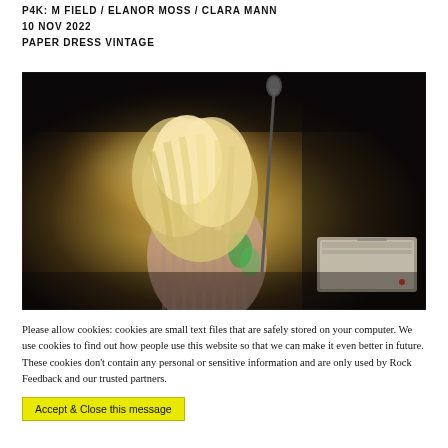P4K: M FIELD / ELANOR MOSS / CLARA MANN
10 NOV 2022
PAPER DRESS VINTAGE
[Figure (photo): Concert photo of a performer with long blonde hair falling forward over their face, leaning into a microphone stand on a dark stage with warm golden stage lighting. A keyboard/equipment case is visible to the right.]
Please allow cookies: cookies are small text files that are safely stored on your computer. We use cookies to find out how people use this website so that we can make it even better in future. These cookies don't contain any personal or sensitive information and are only used by Rock Feedback and our trusted partners.
Accept & Close this message